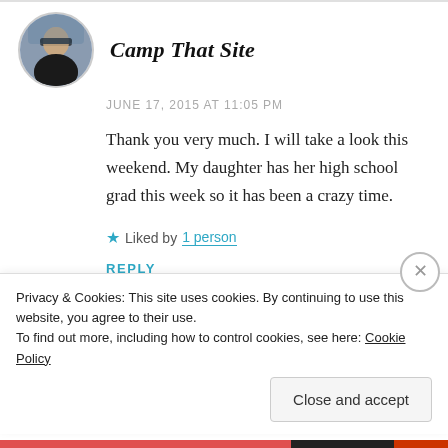[Figure (photo): Circular avatar photo of a woman wearing sunglasses outdoors]
Camp That Site
JUNE 17, 2015 AT 11:05 PM
Thank you very much. I will take a look this weekend. My daughter has her high school grad this week so it has been a crazy time.
★ Liked by 1 person
REPLY
Privacy & Cookies: This site uses cookies. By continuing to use this website, you agree to their use.
To find out more, including how to control cookies, see here: Cookie Policy
Close and accept